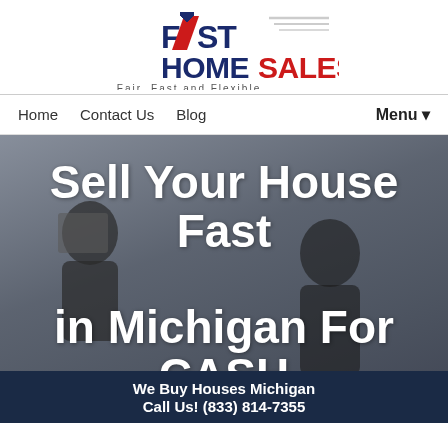[Figure (logo): Fast Home Sales logo with house icon, red and dark blue text, 'Fair, Fast and Flexible' tagline with red underline]
Home   Contact Us   Blog   Menu▼
Sell Your House Fast in Michigan For CASH
We Buy Houses Michigan   Call Us! (833) 814-7355